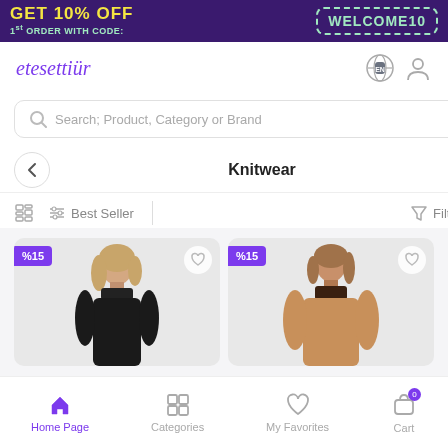[Figure (screenshot): E-commerce mobile app banner: GET 10% OFF 1st ORDER WITH CODE: WELCOME10]
etesettiür
Search; Product, Category or Brand
Knitwear
Best Seller
Filter
[Figure (photo): Product card: %15 discount, model wearing black turtleneck knitwear]
[Figure (photo): Product card: %15 discount, model wearing brown/camel turtleneck knitwear]
Home Page
Categories
My Favorites
Cart